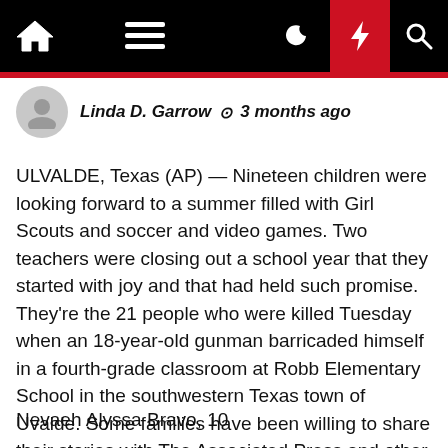Navigation bar with home, menu, dark mode, lightning, and search icons
Linda D. Garrow  🕐 3 months ago
ULVALDE, Texas (AP) — Nineteen children were looking forward to a summer filled with Girl Scouts and soccer and video games. Two teachers were closing out a school year that they started with joy and that had held such promise. They're the 21 people who were killed Tuesday when an 18-year-old gunman barricaded himself in a fourth-grade classroom at Robb Elementary School in the southwestern Texas town of Uvalde. Some families have been willing to share their stories with The Associated Press and other media. Others asked for privacy. Here are their names.
Nevaeh Alyssa Bravo, 10